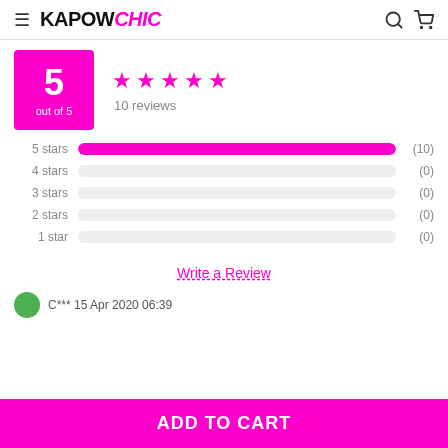KAPOW CHIC
5 out of 5 — 10 reviews
[Figure (bar-chart): Star rating distribution]
Write a Review
C*** 15 Apr 2020 06:39
ADD TO CART